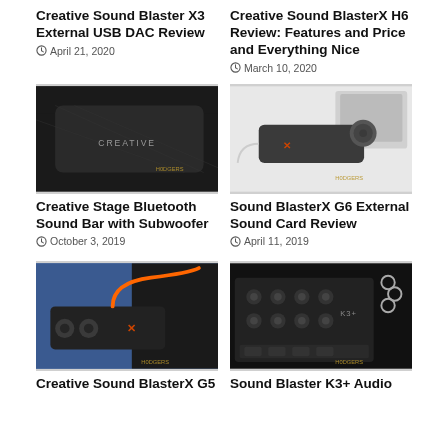Creative Sound Blaster X3 External USB DAC Review
April 21, 2020
Creative Sound BlasterX H6 Review: Features and Price and Everything Nice
March 10, 2020
[Figure (photo): Creative Sound Blaster X3 external USB DAC device, black with carbon fiber texture, CREATIVE branding visible]
[Figure (photo): Sound BlasterX G6 external sound card, small black device with cable attached]
Creative Stage Bluetooth Sound Bar with Subwoofer
October 3, 2019
Sound BlasterX G6 External Sound Card Review
April 11, 2019
[Figure (photo): Creative Sound BlasterX G5 device with orange cable on dark surface]
[Figure (photo): Sound Blaster K3+ audio mixer device with multiple knobs and ports]
Creative Sound BlasterX G5
Sound Blaster K3+ Audio